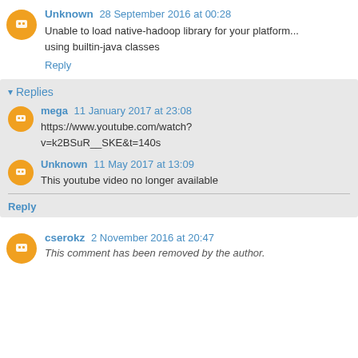Unknown 28 September 2016 at 00:28
Unable to load native-hadoop library for your platform... using builtin-java classes
Reply
Replies
mega 11 January 2017 at 23:08
https://www.youtube.com/watch?v=k2BSuR__SKE&t=140s
Unknown 11 May 2017 at 13:09
This youtube video no longer available
Reply
cserokz 2 November 2016 at 20:47
This comment has been removed by the author.